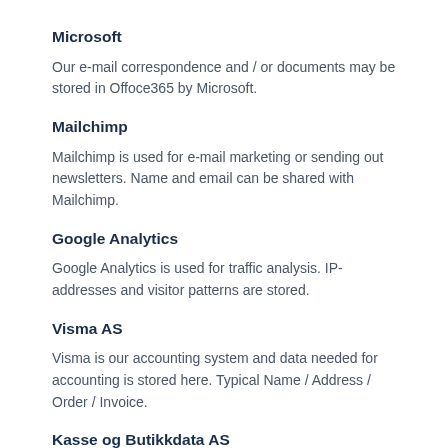Microsoft
Our e-mail correspondence and / or documents may be stored in Offoce365 by Microsoft.
Mailchimp
Mailchimp is used for e-mail marketing or sending out newsletters. Name and email can be shared with Mailchimp.
Google Analytics
Google Analytics is used for traffic analysis. IP-addresses and visitor patterns are stored.
Visma AS
Visma is our accounting system and data needed for accounting is stored here. Typical Name / Address / Order / Invoice.
Kasse og Butikkdata AS